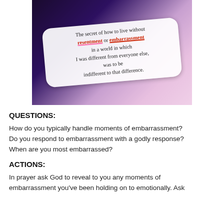[Figure (photo): Photo of a white paper/card with handwritten text on a dark purple background. The text reads: 'The secret of how to live without resentment or embarrassment in a world in which I was different from everyone else, was to be indifferent to that difference.' The words 'resentment' and 'embarrassment' are underlined/highlighted in red/pink.]
QUESTIONS:
How do you typically handle moments of embarrassment? Do you respond to embarrassment with a godly response? When are you most embarrassed?
ACTIONS:
In prayer ask God to reveal to you any moments of embarrassment you've been holding on to emotionally. Ask